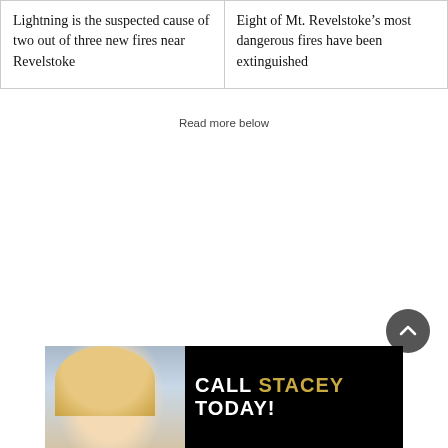Lightning is the suspected cause of two out of three new fires near Revelstoke
Eight of Mt. Revelstoke’s most dangerous fires have been extinguished
Read more below
[Figure (photo): Advertisement banner with woman photo and text: CALL STACEY TODAY!]